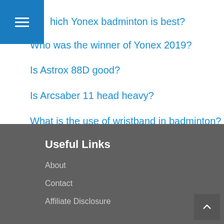Which Yonex badminton is best?
Who was the winner of Yonex 2019?
Is Astrox 88D good?
Is Arcsaber 11 head heavy?
What is the use of wristband in badminton?
Useful Links
About
Contact
Affiliate Disclosure